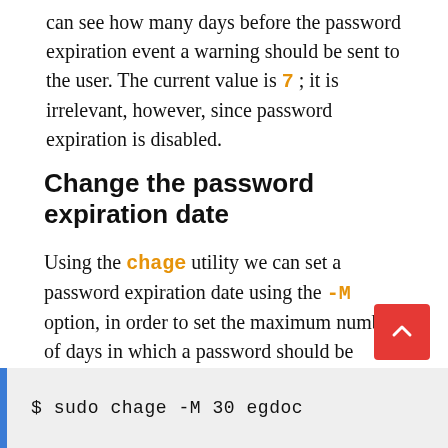can see how many days before the password expiration event a warning should be sent to the user. The current value is 7; it is irrelevant, however, since password expiration is disabled.
Change the password expiration date
Using the chage utility we can set a password expiration date using the -M option, in order to set the maximum number of days in which a password should be considered valid. For example to set the password validity to 30, we would run:
$ sudo chage -M 30 egdoc